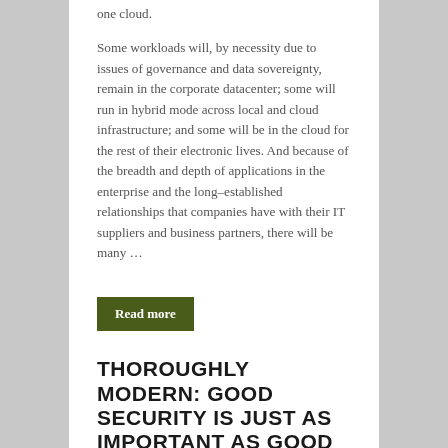one cloud.
Some workloads will, by necessity due to issues of governance and data sovereignty, remain in the corporate datacenter; some will run in hybrid mode across local and cloud infrastructure; and some will be in the cloud for the rest of their electronic lives. And because of the breadth and depth of applications in the enterprise and the long-established relationships that companies have with their IT suppliers and business partners, there will be many …
Read more
THOROUGHLY MODERN: GOOD SECURITY IS JUST AS IMPORTANT AS GOOD CODE
June 13, 2022    Pauline Brazil Ayala